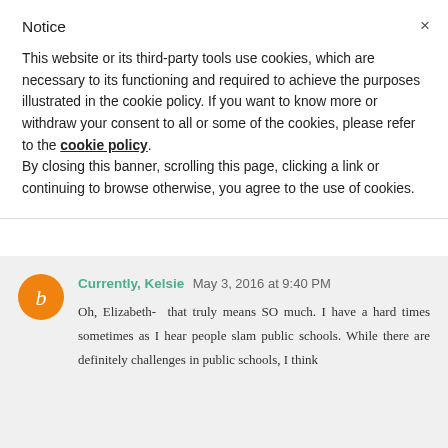Notice
This website or its third-party tools use cookies, which are necessary to its functioning and required to achieve the purposes illustrated in the cookie policy. If you want to know more or withdraw your consent to all or some of the cookies, please refer to the cookie policy.
By closing this banner, scrolling this page, clicking a link or continuing to browse otherwise, you agree to the use of cookies.
Currently, Kelsie May 3, 2016 at 9:40 PM
Oh, Elizabeth- that truly means SO much. I have a hard times sometimes as I hear people slam public schools. While there are definitely challenges in public schools, I think